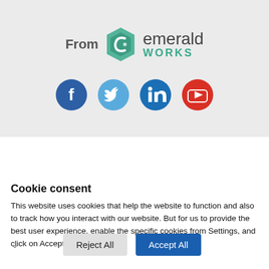[Figure (logo): Emerald Works logo with 'From' text label and four social media icons (Facebook, Twitter, LinkedIn, YouTube) on a light gray background]
About Mind Tools
Cookie consent
This website uses cookies that help the website to function and also to track how you interact with our website. But for us to provide the best user experience, enable the specific cookies from Settings, and click on Accept. Read More